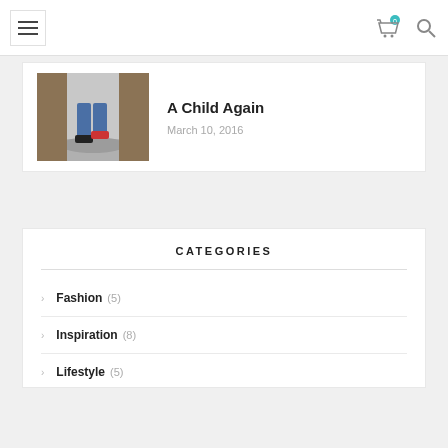Navigation bar with hamburger menu, cart icon (0), and search icon
[Figure (screenshot): Blog post thumbnail showing person jumping over puddle, jeans and sneakers visible]
A Child Again
March 10, 2016
CATEGORIES
Fashion (5)
Inspiration (8)
Lifestyle (5)